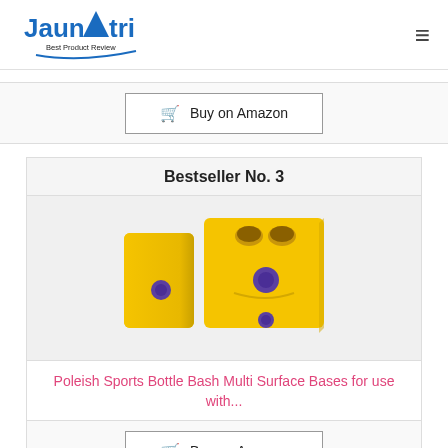Jaunatri Best Product Review
[Figure (other): Buy on Amazon button with shopping cart icon]
Bestseller No. 3
[Figure (photo): Two yellow Poleish Sports Bottle Bash Multi Surface Bases with purple buttons]
Poleish Sports Bottle Bash Multi Surface Bases for use with...
[Figure (other): Buy on Amazon button with shopping cart icon]